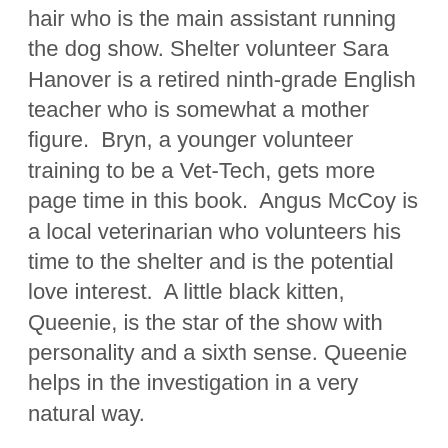hair who is the main assistant running the dog show. Shelter volunteer Sara Hanover is a retired ninth-grade English teacher who is somewhat a mother figure.  Bryn, a younger volunteer training to be a Vet-Tech, gets more page time in this book.  Angus McCoy is a local veterinarian who volunteers his time to the shelter and is the potential love interest.  A little black kitten, Queenie, is the star of the show with personality and a sixth sense. Queenie helps in the investigation in a very natural way.
The majority of time is at the kennel club regional dog show with the shelter and a few trips to investigate in or around town or with Kari at home.  The dog show is used well as the hectic stage for the story.
The story has a good pace that kept moving and thus I had to read "just one more page".  If you have been with me on this blog for a while, you know I love tense or nail-biting killer reveals.  Although this didn't